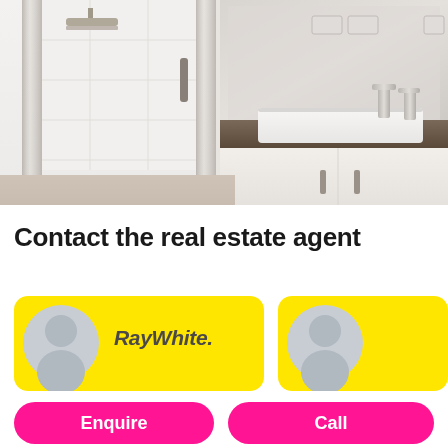[Figure (photo): Modern bathroom interior with glass-enclosed shower on the left, chrome fixtures, white wall tiles, and a floating wooden vanity with rectangular white sink basin and chrome faucets on the right. Large mirror above the vanity.]
Contact the real estate agent
[Figure (logo): RayWhite real estate agent card with avatar placeholder icon and RayWhite italic logo text on yellow background]
[Figure (logo): Second RayWhite real estate agent card with avatar placeholder icon on yellow background (partially visible)]
Enquire
Call